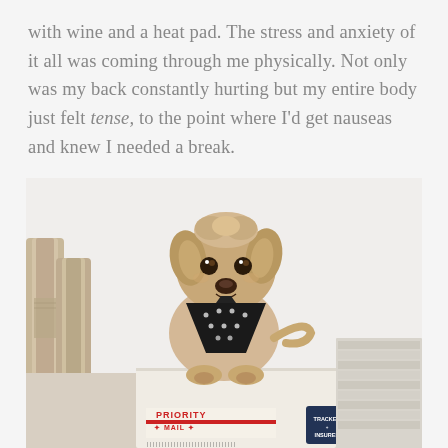with wine and a heat pad. The stress and anxiety of it all was coming through me physically. Not only was my back constantly hurting but my entire body just felt tense, to the point where I'd get nauseas and knew I needed a break.
[Figure (photo): A small scruffy tan/blonde dog wearing a black bandana with white patterns, sitting on a USPS Priority Mail shipping box. Behind the dog are cardboard shipping tubes on the left and stacks of flat packages/envelopes on the right. The background is a white/light gray wall.]